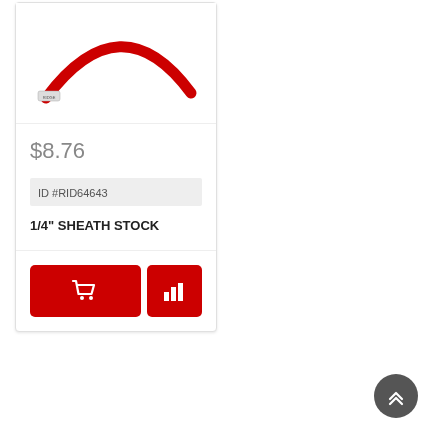[Figure (photo): Red flexible hose/sheath stock curved in an arc on white background]
$8.76
ID #RID64643
1/4" SHEATH STOCK
[Figure (illustration): Red button with white shopping cart icon]
[Figure (illustration): Red button with white bar chart icon]
[Figure (illustration): Dark gray circular back-to-top button with upward chevron arrows]